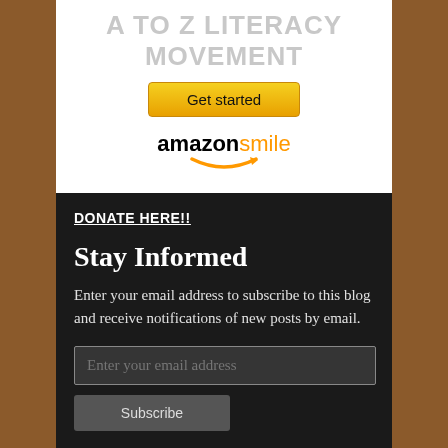A TO Z LITERACY MOVEMENT
[Figure (screenshot): Get started button with yellow/gold gradient styling]
[Figure (logo): Amazon Smile logo with orange smile arrow]
DONATE HERE!!
Stay Informed
Enter your email address to subscribe to this blog and receive notifications of new posts by email.
[Figure (screenshot): Enter your email address input field]